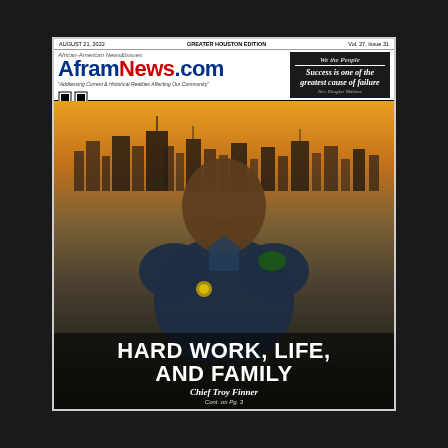AUGUST 21, 2022    GREATER HOUSTON EDITION    Vol. 27, Issue 31
[Figure (logo): AframNews.com newspaper logo with American flag styling; blue and red lettering]
[Figure (other): QR code in top left corner of newspaper]
"Addressing Current & Historical Realities Affecting Our Community"
[Figure (other): Quote box: 'We the People - Success is one of the greatest cause of failure' - Rev. Douglas Mahone]
[Figure (photo): Cover photo of Chief Troy Finner, a Black man in police uniform, with Houston skyline at sunset in the background]
HARD WORK, LIFE, AND FAMILY
Chief Troy Finner
Cont. on Pg. 3